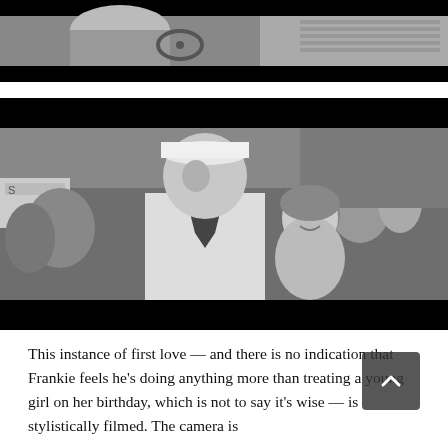[Figure (photo): Black and white film still showing the top of a vintage car and partial figures, with black letterbox bars above and below]
[Figure (photo): Black and white film still of a young man in a sailor outfit with a neckerchief and white cap, standing in a crowd at what appears to be a fair or outdoor event; a smiling young woman is visible to his right; black letterbox bars above and below]
This instance of first love — and there is no indication that Frankie feels he's doing anything more than treating a young girl on her birthday, which is not to say it's wise — is stylistically filmed. The camera is